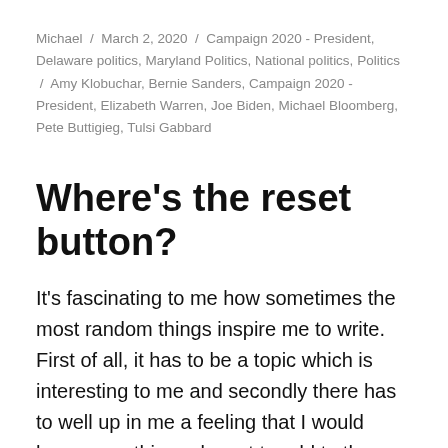Michael / March 2, 2020 / Campaign 2020 - President, Delaware politics, Maryland Politics, National politics, Politics / Amy Klobuchar, Bernie Sanders, Campaign 2020 - President, Elizabeth Warren, Joe Biden, Michael Bloomberg, Pete Buttigieg, Tulsi Gabbard
Where's the reset button?
It's fascinating to me how sometimes the most random things inspire me to write. First of all, it has to be a topic which is interesting to me and secondly there has to well up in me a feeling that I would have something relevant to add to the conversation. So I was sitting with